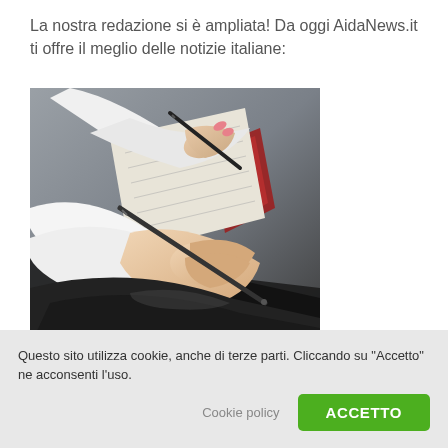La nostra redazione si è ampliata! Da oggi AidaNews.it ti offre il meglio delle notizie italiane:
[Figure (photo): Two people holding stylus pens writing on notebooks or tablets, close-up shot with blurred background, showing hands and writing instruments in editorial/journalistic context.]
Questo sito utilizza cookie, anche di terze parti. Cliccando su "Accetto" ne acconsenti l'uso.
Cookie policy
ACCETTO